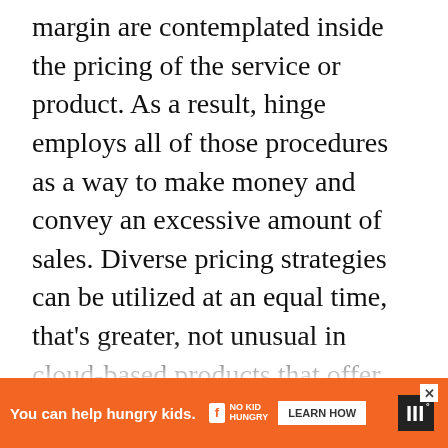margin are contemplated inside the pricing of the service or product. As a result, hinge employs all of those procedures as a way to make money and convey an excessive amount of sales. Diverse pricing strategies can be utilized at an equal time, that's greater, not unusual in cloud-based products that offer more than one pricing plan at an equal time. In this example, the revenue model continues to be middle on customer transactions and purchases. One-of-a-kind pricing strategies will affect how cash is made, and it all relies upon the fo... whilst tw... app's
[Figure (other): Orange advertisement banner at bottom of page: 'You can help hungry kids.' with No Kid Hungry logo, LEARN HOW button, and a close (X) button. Right side shows a partial dark icon with superscript degree symbol.]